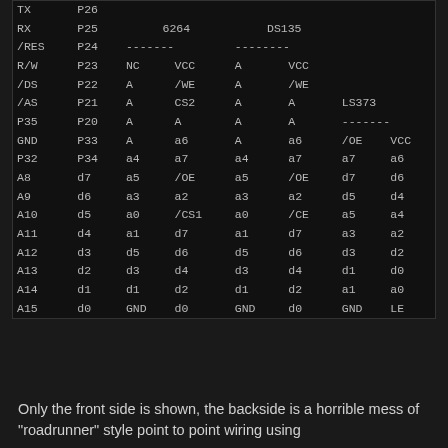| TX | P26 |  |  |  |  |  |  |
| RX | P25 |  | 6264 |  | DS135 |  |  |
| /RES | P24 | ------- |  | -------- |  |  |  |
| R/W | P23 | NC | VCC | A | VCC |  |  |
| /DS | P22 | A | /WE | A | /WE |  |  |
| /AS | P21 | A | CS2 | A | A |  | LS373 |
| P35 | P20 | A | A | A | A | ------- |  |
| GND | P33 | A | a6 | A | a6 | /OE | VCC |
| P32 | P34 | a4 | a7 | a4 | a7 | a7 | a6 |
| A8 | d7 | a5 | /OE | a5 | /OE | d7 | d6 |
| A9 | d6 | a3 | a2 | a3 | a2 | d5 | d4 |
| A10 | d5 | a0 | /CS1 | a0 | /CE | a5 | a4 |
| A11 | d4 | a1 | d7 | a1 | d7 | a3 | a2 |
| A12 | d3 | d5 | d6 | d5 | d6 | d3 | d2 |
| A13 | d2 | d3 | d4 | d3 | d4 | d1 | d0 |
| A14 | d1 | d1 | d2 | d1 | d2 | a1 | a0 |
| A15 | d0 | GND | d0 | GND | d0 | GND | LE |
Only the front side is shown, the backside is a horrible mess of "roadrunner" style point to point wiring using